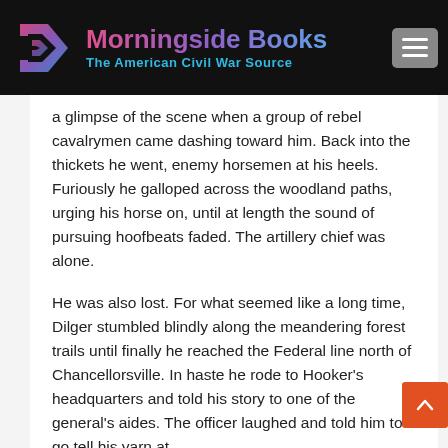Morningside Books — The American Civil War Source
a glimpse of the scene when a group of rebel cavalrymen came dashing toward him. Back into the thickets he went, enemy horsemen at his heels. Furiously he galloped across the woodland paths, urging his horse on, until at length the sound of pursuing hoofbeats faded. The artillery chief was alone.
He was also lost. For what seemed like a long time, Dilger stumbled blindly along the meandering forest trails until finally he reached the Federal line north of Chancellorsville. In haste he rode to Hooker's headquarters and told his story to one of the general's aides. The officer laughed and told him to go tell his yarn at